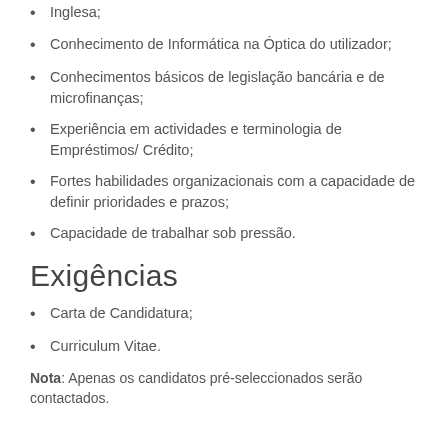Inglesa;
Conhecimento de Informática na Óptica do utilizador;
Conhecimentos básicos de legislação bancária e de microfinanças;
Experiência em actividades e terminologia de Empréstimos/ Crédito;
Fortes habilidades organizacionais com a capacidade de definir prioridades e prazos;
Capacidade de trabalhar sob pressão.
Exigências
Carta de Candidatura;
Curriculum Vitae.
Nota: Apenas os candidatos pré-seleccionados serão contactados.